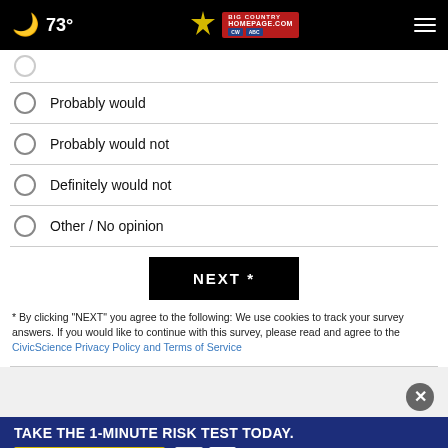73° Big Country Homepage
Probably would
Probably would not
Definitely would not
Other / No opinion
NEXT *
* By clicking "NEXT" you agree to the following: We use cookies to track your survey answers. If you would like to continue with this survey, please read and agree to the CivicScience Privacy Policy and Terms of Service
[Figure (illustration): Close (X) button circle]
[Figure (infographic): Ad banner: TAKE THE 1-MINUTE RISK TEST TODAY. DolHavePrediabetes.org with ad council, AMA, and CDC logos]